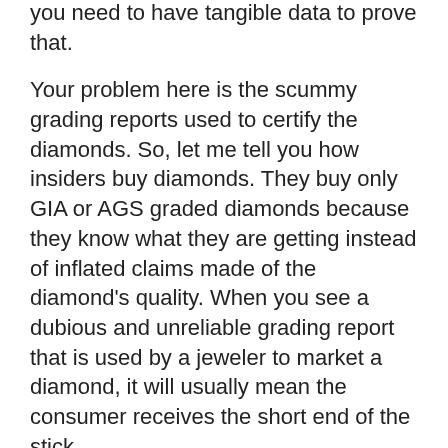you need to have tangible data to prove that.
Your problem here is the scummy grading reports used to certify the diamonds. So, let me tell you how insiders buy diamonds. They buy only GIA or AGS graded diamonds because they know what they are getting instead of inflated claims made of the diamond's quality. When you see a dubious and unreliable grading report that is used by a jeweler to market a diamond, it will usually mean the consumer receives the short end of the stick.
Also, this article on buying diamonds in Dubai will also offer some insights: https://beyond4cs.com/jewelry-